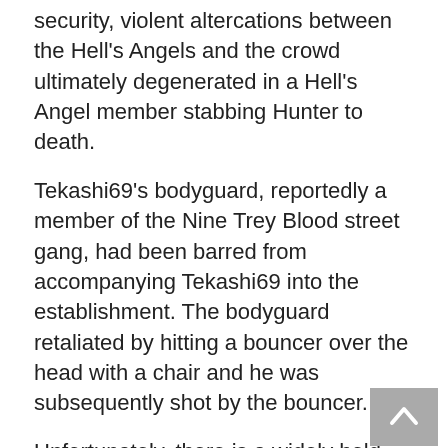security, violent altercations between the Hell's Angels and the crowd ultimately degenerated in a Hell's Angel member stabbing Hunter to death.
Tekashi69's bodyguard, reportedly a member of the Nine Trey Blood street gang, had been barred from accompanying Tekashi69 into the establishment. The bodyguard retaliated by hitting a bouncer over the head with a chair and he was subsequently shot by the bouncer.
Unfortunately, there is a widely held misperception that if you want to hire a bodyguard, all you need is a large man who knows how to use his fists and a gun. But nothing can be further from the truth.
More than physical prowess, effective executive protection is really about the mental strengths of the agents or teams involved and their ability to prepare for, plan for, and avoid threats.
It is the mental aspects of protection that separate executive protection professionals from